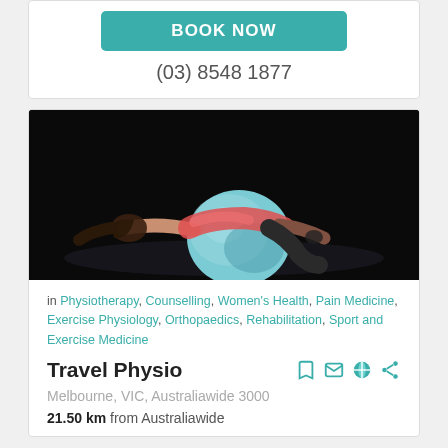Book Now
(03) 8548 1877
[Figure (photo): Woman lying back on an exercise ball in a dark gym, wearing a pink top and dark shorts, arms extended, performing a stretching or exercise movement.]
in Physiotherapy, Counselling, Women's Health, Pain Medicine, Exercise Physiology, Orthopaedics, Rehabilitation, Sport and Exercise Medicine
Travel Physio
Melbourne, VIC, Australiawide 3000
21.50 km from Australiawide